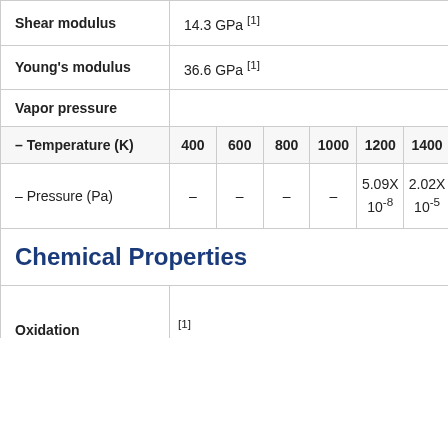| Shear modulus | 14.3 GPa [1] |
| Young's modulus | 36.6 GPa [1] |
| Vapor pressure |  |
| – Temperature (K) | 400 | 600 | 800 | 1000 | 1200 | 1400 |
| – Pressure (Pa) | – | – | – | – | 5.09X 10^-8 | 2.02X 10^-5 |
Chemical Properties
| Oxidation | [1] |